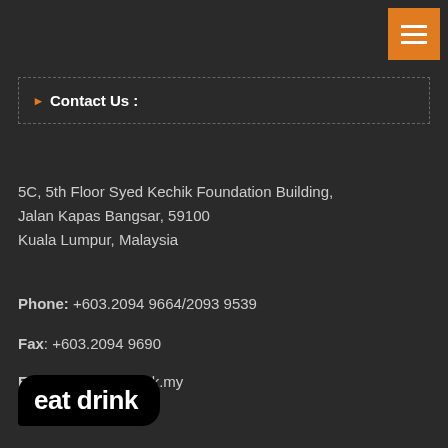[Figure (logo): Orange hamburger menu icon button in top-right corner]
Contact Us :
5C, 5th Floor Syed Kechik Foundation Building,
Jalan Kapas Bangsar, 59100
Kuala Lumpur, Malaysia
Phone: +603.2094 9664/2093 9539
Fax: +603.2094 9690
Email: info@eatdrink.my
[Figure (logo): eat drink logo — white bold text on black speech-bubble shape]